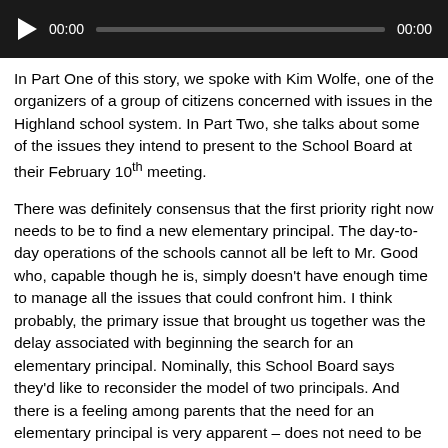[Figure (other): Audio player bar with play button, time display showing 00:00, progress bar, and end time 00:00 on black background]
In Part One of this story, we spoke with Kim Wolfe, one of the organizers of a group of citizens concerned with issues in the Highland school system. In Part Two, she talks about some of the issues they intend to present to the School Board at their February 10th meeting.
There was definitely consensus that the first priority right now needs to be to find a new elementary principal. The day-to-day operations of the schools cannot all be left to Mr. Good who, capable though he is, simply doesn't have enough time to manage all the issues that could confront him. I think probably, the primary issue that brought us together was the delay associated with beginning the search for an elementary principal. Nominally, this School Board says they'd like to reconsider the model of two principals. And there is a feeling among parents that the need for an elementary principal is very apparent – does not need to be debated – there's no need to change a model that wasn't broken. We need to move forward and make that happen in the short term."